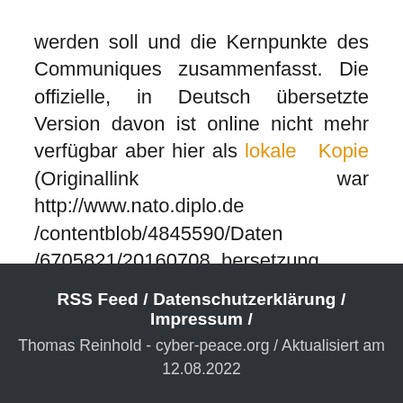werden soll und die Kernpunkte des Communiques zusammenfasst. Die offizielle, in Deutsch übersetzte Version davon ist online nicht mehr verfügbar aber hier als lokale Kopie (Originallink war http://www.nato.diplo.de/contentblob/4845590/Daten/6705821/20160708_bersetzung_Vereinbarung_zur_CyberAbwehr.pdf).
RSS Feed / Datenschutzerklärung / Impressum / Thomas Reinhold - cyber-peace.org / Aktualisiert am 12.08.2022